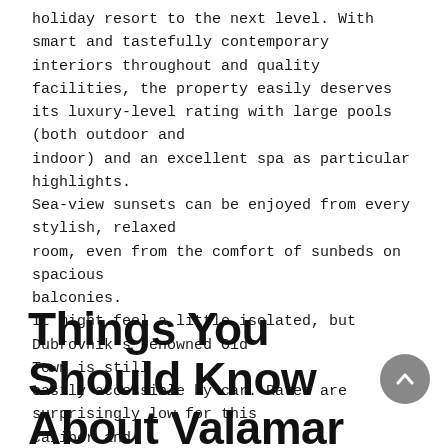holiday resort to the next level. With smart and tastefully contemporary interiors throughout and quality facilities, the property easily deserves its luxury-level rating with large pools (both outdoor and indoor) and an excellent spa as particular highlights. Sea-view sunsets can be enjoyed from every stylish, relaxed room, even from the comfort of sunbeds on spacious balconies. It might feel a little isolated, but Dubrovnik's renowned Old Town is still easily accessible by car. Rates are surprisingly low for this caliber and half-board options can provide even better value.
Things You Should Know About Valamar Dubrovnik President